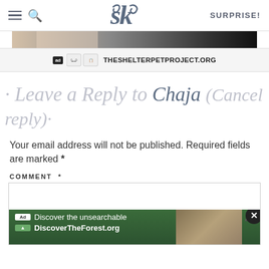SK  SURPRISE!
[Figure (screenshot): Ad banner showing theshelterpetproject.org with ad council logos and organization logos]
· Leave a Reply to Chaja (Cancel reply)·
Your email address will not be published. Required fields are marked *
COMMENT *
[Figure (screenshot): Comment text area input box with bottom advertisement for DiscoverTheForest.org showing 'Discover the unsearchable' text with close button and people in forest image]